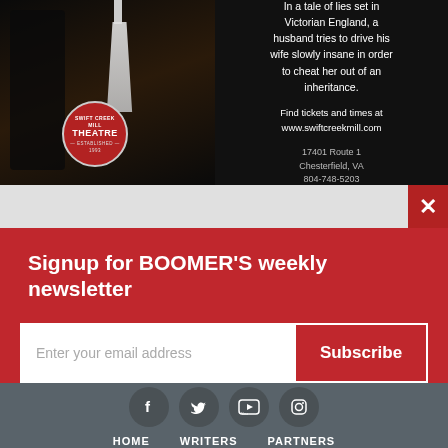[Figure (photo): Theatre advertisement for Swift Creek Mill Theatre showing a dark atmospheric scene with a lamp and silhouette on the left, and text on the right about Victorian England story. Includes theatre logo, website URL, address and phone number.]
In a tale of lies set in Victorian England, a husband tries to drive his wife slowly insane in order to cheat her out of an inheritance.

Find tickets and times at www.swiftcreekmill.com

17401 Route 1
Chesterfield, VA
804-748-5203
×
Signup for BOOMER'S weekly newsletter
Enter your email address
Subscribe
[Figure (infographic): Footer with social media icons for Facebook, Twitter, YouTube, and Instagram displayed as dark circular buttons]
HOME    WRITERS    PARTNERS